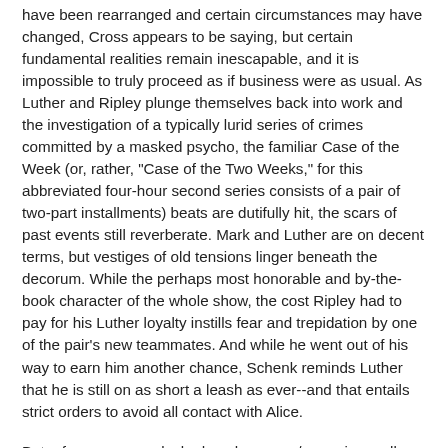have been rearranged and certain circumstances may have changed, Cross appears to be saying, but certain fundamental realities remain inescapable, and it is impossible to truly proceed as if business were as usual. As Luther and Ripley plunge themselves back into work and the investigation of a typically lurid series of crimes committed by a masked psycho, the familiar Case of the Week (or, rather, "Case of the Two Weeks," for this abbreviated four-hour second series consists of a pair of two-part installments) beats are dutifully hit, the scars of past events still reverberate. Mark and Luther are on decent terms, but vestiges of old tensions linger beneath the decorum. While the perhaps most honorable and by-the-book character of the whole show, the cost Ripley had to pay for his Luther loyalty instills fear and trepidation by one of the pair's new teammates. And while he went out of his way to earn him another chance, Schenk reminds Luther that he is still on as short a leash as ever--and that entails strict orders to avoid all contact with Alice.
But, of course, even locked up, her scary/sexy siren call proves to be too strong for Luther to resist, and as Elba and